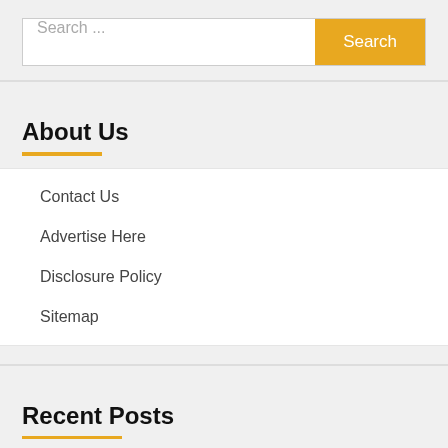Search ...
About Us
Contact Us
Advertise Here
Disclosure Policy
Sitemap
Recent Posts
Cancun Attractions and Tours Experience in Garrafon Park